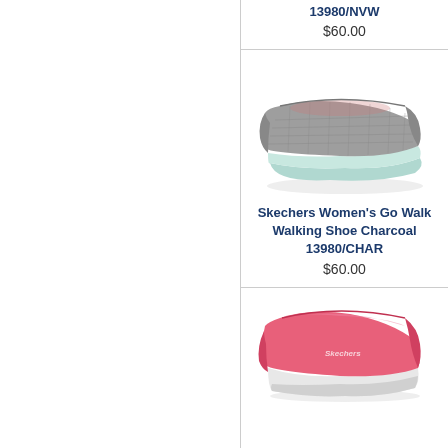13980/NVW
$60.00
[Figure (photo): Gray Skechers Women's Go Walk slip-on shoe with teal accent sole, viewed from the side]
Skechers Women's Go Walk Walking Shoe Charcoal 13980/CHAR
$60.00
[Figure (photo): Pink Skechers Women's Go Walk slip-on shoe viewed from the side, partial view at bottom of page]